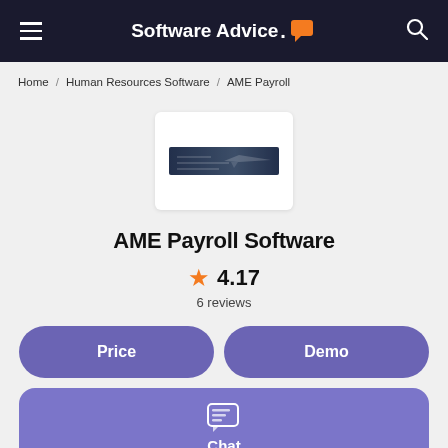Software Advice
Home / Human Resources Software / AME Payroll
[Figure (logo): AME Payroll software logo image on white card background]
AME Payroll Software
★ 4.17
6 reviews
Price
Demo
Chat